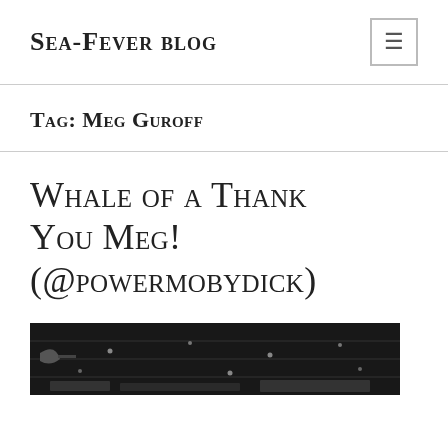Sea-Fever blog
Tag: Meg Guroff
Whale of a Thank You Meg! (@powermobydick)
[Figure (photo): Black and white photograph partially visible at the bottom of the page, appears to show a nautical or maritime scene with decorative star-like elements on a wooden background.]